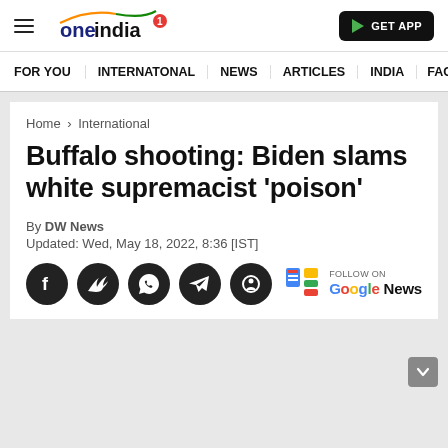oneindia — GET APP
FOR YOU   INTERNATONAL   NEWS   ARTICLES   INDIA   FACT
Home › International
Buffalo shooting: Biden slams white supremacist 'poison'
By DW News
Updated: Wed, May 18, 2022, 8:36 [IST]
[Figure (other): Social media share icons (Facebook, Twitter, WhatsApp, Telegram, unknown) and Google News follow button]